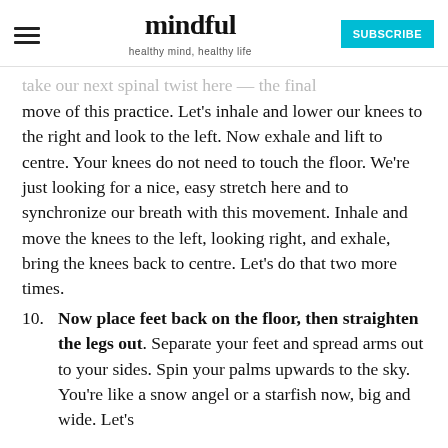mindful — healthy mind, healthy life | SUBSCRIBE
take our next spinal twist here — the final move of this practice. Let's inhale and lower our knees to the right and look to the left. Now exhale and lift to centre. Your knees do not need to touch the floor. We're just looking for a nice, easy stretch here and to synchronize our breath with this movement. Inhale and move the knees to the left, looking right, and exhale, bring the knees back to centre. Let's do that two more times.
10. Now place feet back on the floor, then straighten the legs out. Separate your feet and spread arms out to your sides. Spin your palms upwards to the sky. You're like a snow angel or a starfish now, big and wide. Let's